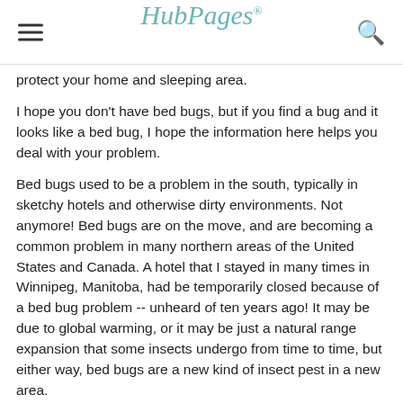HubPages
protect your home and sleeping area.
I hope you don't have bed bugs, but if you find a bug and it looks like a bed bug, I hope the information here helps you deal with your problem.
Bed bugs used to be a problem in the south, typically in sketchy hotels and otherwise dirty environments. Not anymore! Bed bugs are on the move, and are becoming a common problem in many northern areas of the United States and Canada. A hotel that I stayed in many times in Winnipeg, Manitoba, had be temporarily closed because of a bed bug problem -- unheard of ten years ago! It may be due to global warming, or it may be just a natural range expansion that some insects undergo from time to time, but either way, bed bugs are a new kind of insect pest in a new area.
By Content Providers(s): CDC/ Harvard University, Dr. Gary